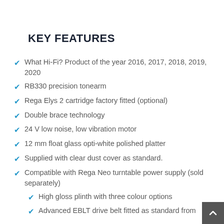KEY FEATURES
What Hi-Fi? Product of the year 2016, 2017, 2018, 2019, 2020
RB330 precision tonearm
Rega Elys 2 cartridge factory fitted (optional)
Double brace technology
24 V low noise, low vibration motor
12 mm float glass opti-white polished platter
Supplied with clear dust cover as standard.
Compatible with Rega Neo turntable power supply (sold separately)
High gloss plinth with three colour options
Advanced EBLT drive belt fitted as standard from